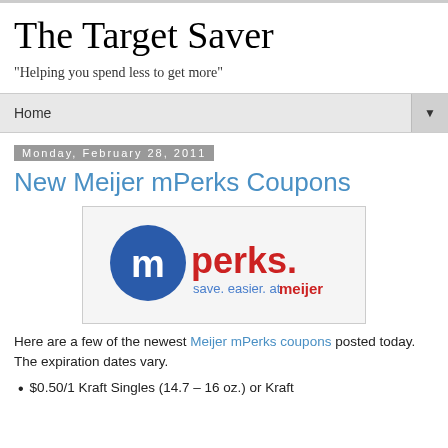The Target Saver
"Helping you spend less to get more"
Home ▼
Monday, February 28, 2011
New Meijer mPerks Coupons
[Figure (logo): mPerks logo — blue circle with white 'm', followed by 'perks.' in red, 'save. easier. at' in blue, and 'meijer' in red bold]
Here are a few of the newest Meijer mPerks coupons posted today.  The expiration dates vary.
$0.50/1 Kraft Singles (14.7 – 16 oz.) or Kraft